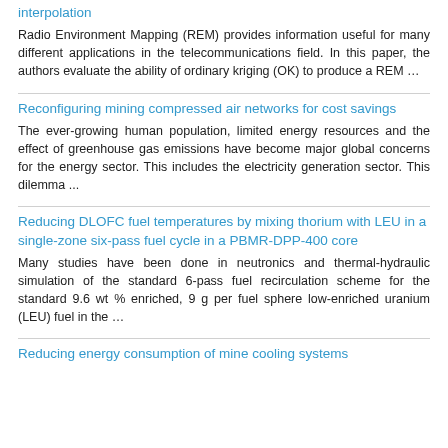interpolation
Radio Environment Mapping (REM) provides information useful for many different applications in the telecommunications field. In this paper, the authors evaluate the ability of ordinary kriging (OK) to produce a REM …
Reconfiguring mining compressed air networks for cost savings
The ever-growing human population, limited energy resources and the effect of greenhouse gas emissions have become major global concerns for the energy sector. This includes the electricity generation sector. This dilemma ...
Reducing DLOFC fuel temperatures by mixing thorium with LEU in a single-zone six-pass fuel cycle in a PBMR-DPP-400 core
Many studies have been done in neutronics and thermal-hydraulic simulation of the standard 6-pass fuel recirculation scheme for the standard 9.6 wt % enriched, 9 g per fuel sphere low-enriched uranium (LEU) fuel in the …
Reducing energy consumption of mine cooling systems